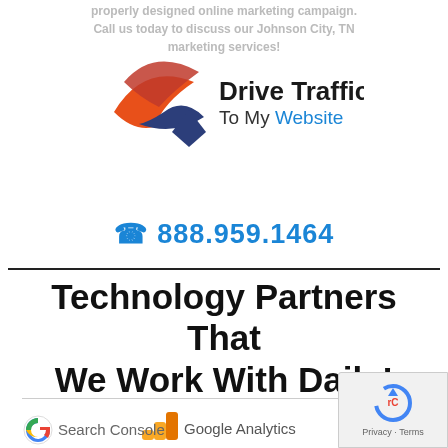...properly designed online marketing campaigns. Call us today to discuss our Johnson City, TN marketing services!
[Figure (logo): Drive Traffic To My Website logo with swoosh graphic]
☎ 888.959.1464
Technology Partners That We Work With Daily!
[Figure (logo): Google Analytics logo with bar chart icon in orange/yellow]
[Figure (logo): Google Search Console logo with G icon]
[Figure (logo): reCAPTCHA badge with Privacy and Terms]